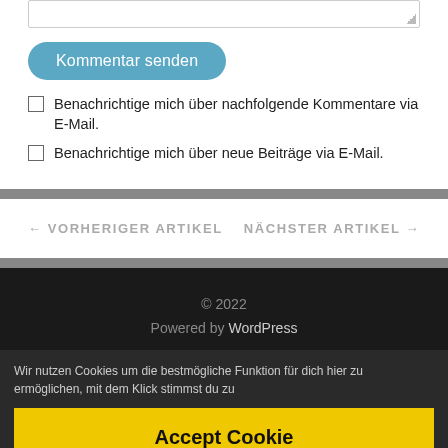[textarea stub]
Kommentar senden
Benachrichtige mich über nachfolgende Kommentare via E-Mail.
Benachrichtige mich über neue Beiträge via E-Mail.
← VORHERIGER ARTIKEL
NÄCHSTER ARTIKEL →
© 2022
Powered by WordPress
Wir nutzen Cookies um die bestmögliche Funktion für dich hier zu ermöglichen, mit dem Klick stimmst du zu
Accept Cookie